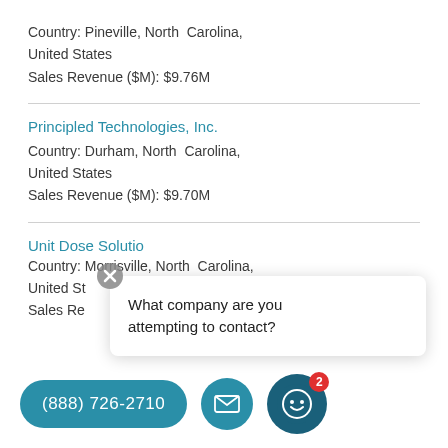Country: Pineville, North Carolina, United States
Sales Revenue ($M): $9.76M
Principled Technologies, Inc.
Country: Durham, North Carolina, United States
Sales Revenue ($M): $9.70M
Unit Dose Solutio...
Country: Morrisville, North Carolina, United States
Sales Revenue ($M): ...
[Figure (screenshot): Chat popup asking 'What company are you attempting to contact?' with a close (X) button.]
(888) 726-2710
[Figure (infographic): Bottom action bar with phone number button (888) 726-2710, mail icon button, and bot icon button with badge showing 2.]